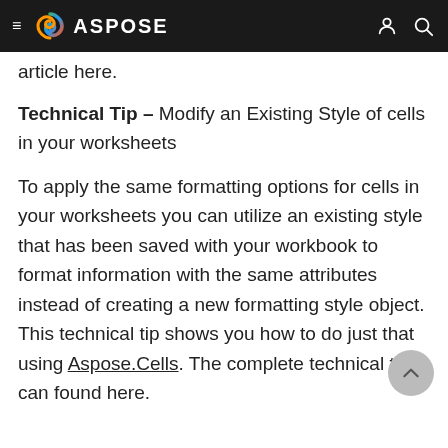ASPOSE
article here.
Technical Tip – Modify an Existing Style of cells in your worksheets
To apply the same formatting options for cells in your worksheets you can utilize an existing style that has been saved with your workbook to format information with the same attributes instead of creating a new formatting style object. This technical tip shows you how to do just that using Aspose.Cells. The complete technical tip can found here.